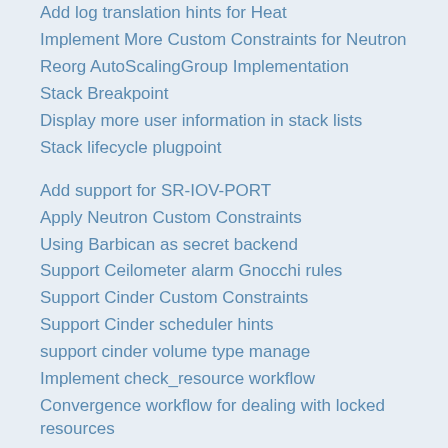Add log translation hints for Heat
Implement More Custom Constraints for Neutron
Reorg AutoScalingGroup Implementation
Stack Breakpoint
Display more user information in stack lists
Stack lifecycle plugpoint
Add support for SR-IOV-PORT
Apply Neutron Custom Constraints
Using Barbican as secret backend
Support Ceilometer alarm Gnocchi rules
Support Cinder Custom Constraints
Support Cinder scheduler hints
support cinder volume type manage
Implement check_resource workflow
Convergence workflow for dealing with locked resources
Add a config option to enable Convergence
Implement SyncPoint DB table
Lightweight Stack loading for convergence
Internal oslo.messaging bus for convergence
Move Parameter data storage from Stack to RawTemplate
Load and generate the dependency graph for a stack traversal
Extract data from resources to push into dependencies